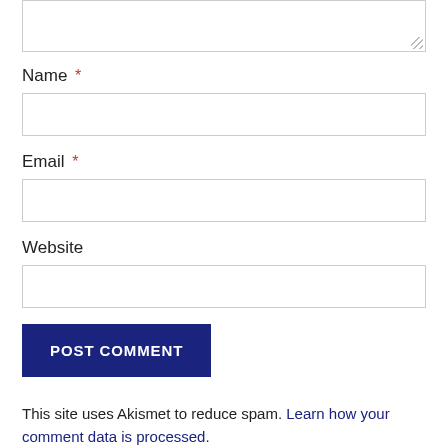[Figure (screenshot): Top portion of a comment form showing a textarea with resize handle at bottom right corner]
Name *
[Figure (screenshot): Name input text field]
Email *
[Figure (screenshot): Email input text field]
Website
[Figure (screenshot): Website input text field]
POST COMMENT
This site uses Akismet to reduce spam. Learn how your comment data is processed.